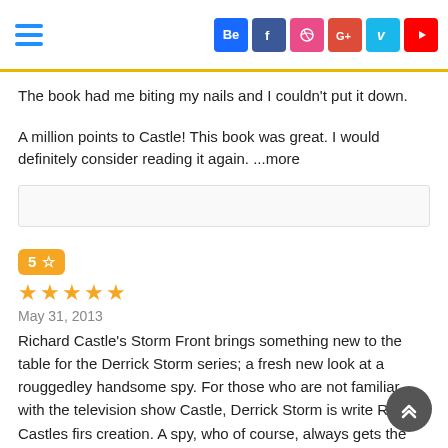Navigation header with hamburger menu and social icons: Behance, Facebook, Dribbble, Google+, Vine, YouTube
The book had me biting my nails and I couldn't put it down.
A million points to Castle! This book was great. I would definitely consider reading it again. ...more
5 ☆
★★★★★
May 31, 2013
Richard Castle's Storm Front brings something new to the table for the Derrick Storm series; a fresh new look at a rouggedley handsome spy. For those who are not familiar with the television show Castle, Derrick Storm is write Richard Castles firs creation. A spy, who of course, always gets the ladies and the bad guys. Castle killed off Storm at the start of the television series but recently decided to bring him back in a way only the FBI and the CIA could pull off. After three mini e-novels it Richard Castle's Storm Front brings something new to the table for the Derrick